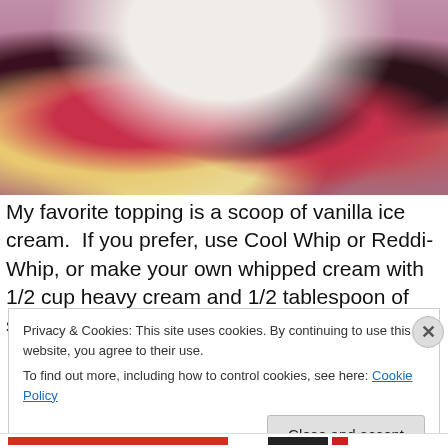[Figure (photo): A serving of mixed berry cobbler with whipped cream on a purple/pink plate, showing red berries (raspberries/strawberries) and dark blackberries with golden biscuit topping and a large dollop of whipped cream.]
My favorite topping is a scoop of vanilla ice cream.  If you prefer, use Cool Whip or Reddi-Whip, or make your own whipped cream with 1/2 cup heavy cream and 1/2 tablespoon of sugar.
Privacy & Cookies: This site uses cookies. By continuing to use this website, you agree to their use.
To find out more, including how to control cookies, see here: Cookie Policy
Close and accept